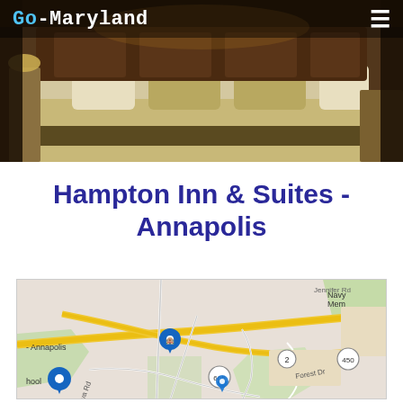[Figure (photo): Hotel room photo showing a luxury bed with decorative pillows, warm lighting, and dark curtains. Header overlay with 'Go-Maryland' logo and hamburger menu icon.]
Go-Maryland  ≡
Hampton Inn & Suites - Annapolis
[Figure (map): Google Maps screenshot showing area around Hampton Inn & Suites Annapolis, with roads, Parole label, route 2, route 450, route 665, Forest Dr, Navy Mem label, and a blue location pin marker.]